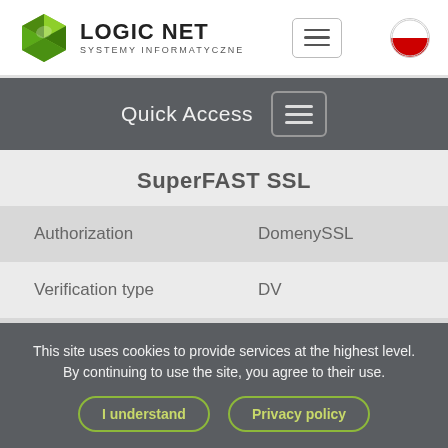LOGIC NET SYSTEMY INFORMATYCZNE
Quick Access
SuperFAST SSL
| Authorization | DomenySSL |
| Verification type | DV |
| standard | 99,00zł |
This site uses cookies to provide services at the highest level. By continuing to use the site, you agree to their use.
I understand
Privacy policy